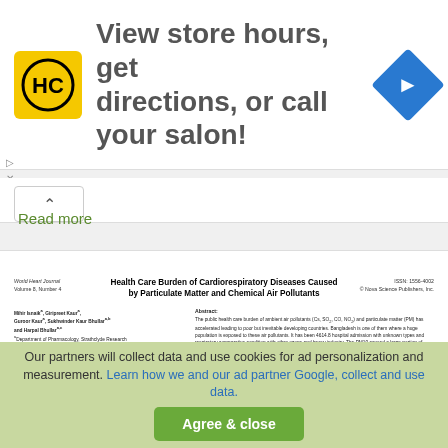[Figure (other): Advertisement banner with HC logo, navigation icon, and text 'View store hours, get directions, or call your salon!']
Read more
[Figure (screenshot): Preview of academic paper titled 'Health Care Burden of Cardiorespiratory Diseases Caused by Particulate Matter and Chemical Air Pollutants' with authors and abstract columns visible]
Our partners will collect data and use cookies for ad personalization and measurement. Learn how we and our ad partner Google, collect and use data. Agree & close